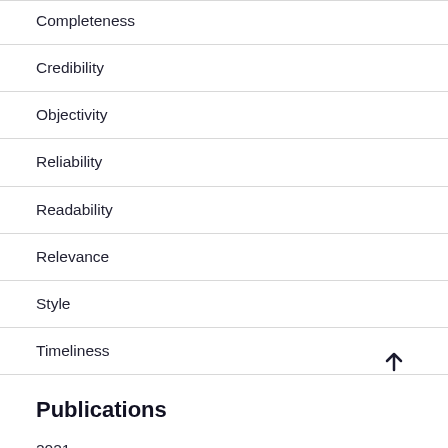Completeness
Credibility
Objectivity
Reliability
Readability
Relevance
Style
Timeliness
Publications
2021